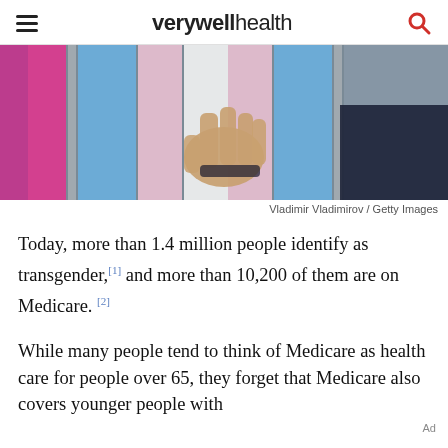verywell health
[Figure (photo): A person holding a transgender pride flag with pink, white, and blue stripes. Another pink flag visible on the left edge.]
Vladimir Vladimirov / Getty Images
Today, more than 1.4 million people identify as transgender,[1] and more than 10,200 of them are on Medicare.[2]
While many people tend to think of Medicare as health care for people over 65, they forget that Medicare also covers younger people with